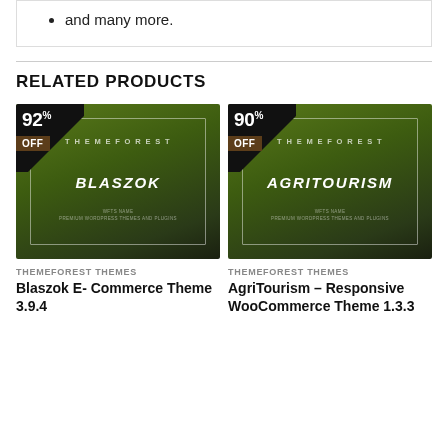and many more.
RELATED PRODUCTS
[Figure (illustration): Product thumbnail for Blaszok E-Commerce Theme showing green gradient background with THEMEFOREST and BLASZOK text, 92% OFF badge in corner]
THEMEFOREST THEMES
Blaszok E- Commerce Theme 3.9.4
[Figure (illustration): Product thumbnail for AgriTourism Responsive WooCommerce Theme showing green gradient background with THEMEFOREST and AGRITOURISM text, 90% OFF badge in corner]
THEMEFOREST THEMES
AgriTourism – Responsive WooCommerce Theme 1.3.3